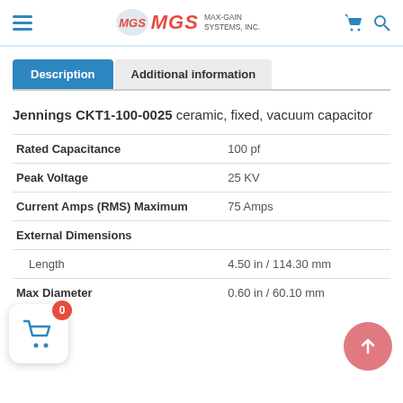MGS MAX-GAIN SYSTEMS, INC.
Description | Additional information
Jennings CKT1-100-0025 ceramic, fixed, vacuum capacitor
| Property | Value |
| --- | --- |
| Rated Capacitance | 100 pf |
| Peak Voltage | 25 KV |
| Current Amps (RMS) Maximum | 75 Amps |
| External Dimensions |  |
| Length | 4.50 in / 114.30 mm |
| Max Diameter | 0.60 in / 60.10 mm |